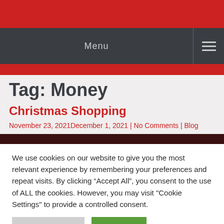Menu
Tag: Money
Christmas Shopping
November 23, 2021December 1, 2021 | No Comments | Blog
[Figure (photo): Dark red Christmas-themed image strip]
We use cookies on our website to give you the most relevant experience by remembering your preferences and repeat visits. By clicking “Accept All”, you consent to the use of ALL the cookies. However, you may visit "Cookie Settings" to provide a controlled consent.